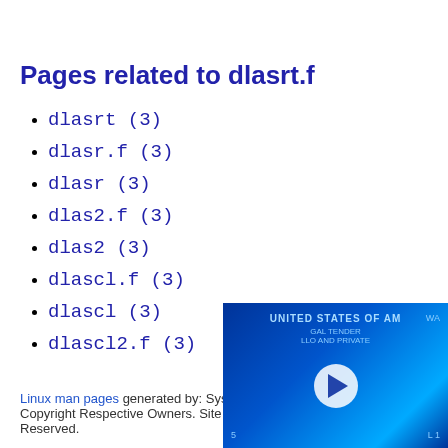Pages related to dlasrt.f
dlasrt (3)
dlasr.f (3)
dlasr (3)
dlas2.f (3)
dlas2 (3)
dlascl.f (3)
dlascl (3)
dlascl2.f (3)
Linux man pages generated by: SysTutorials. Copyright Respective Owners. Site Content Copyright © SysTutorials. All Rights Reserved.